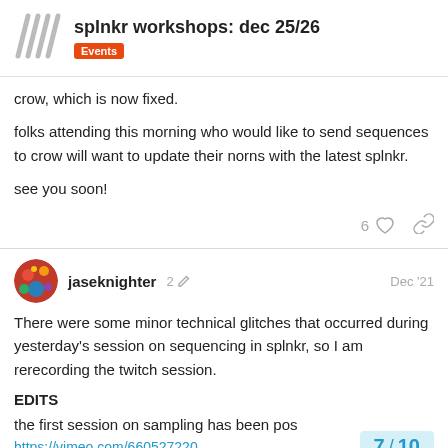splnkr workshops: dec 25/26 | Events
crow, which is now fixed.

folks attending this morning who would like to send sequences to crow will want to update their norns with the latest splnkr.

see you soon!
6 ♡ 🔗
jaseknighter 2 ✏ Dec '21
There were some minor technical glitches that occurred during yesterday's session on sequencing in splnkr, so I am rerecording the twitch session.
EDITS
the first session on sampling has been pos
https://vimeo.com/660527220
7 / 10